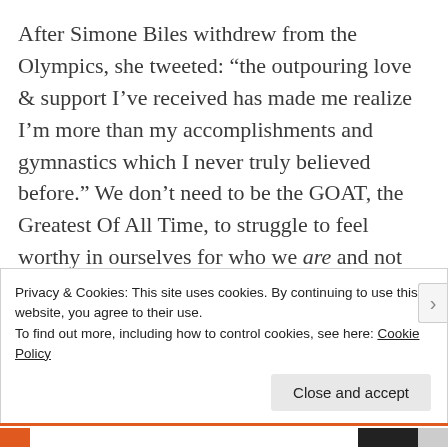After Simone Biles withdrew from the Olympics, she tweeted: “the outpouring love & support I’ve received has made me realize I’m more than my accomplishments and gymnastics which I never truly believed before.” We don’t need to be the GOAT, the Greatest Of All Time, to struggle to feel worthy in ourselves for who we are and not what we do. And what might we do, if we did not feel the need to prove our worth at all times?
Privacy & Cookies: This site uses cookies. By continuing to use this website, you agree to their use.
To find out more, including how to control cookies, see here: Cookie Policy
Close and accept